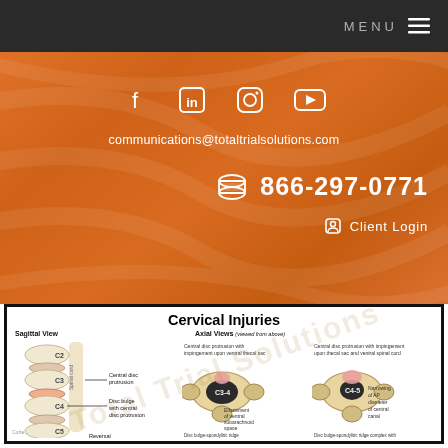MENU ≡
[Figure (infographic): Orange decorative background section with social media icons (Facebook, LinkedIn, Instagram, YouTube), email address, phone number, and client login link]
communications@totaltrialsolutions.com
866-297-0771
Client Login
[Figure (illustration): Medical illustration titled 'Cervical Injuries' showing a Sagittal View of the cervical spine (C2-C5) with labels including 'Central disc protrusion', 'Disc bulge with central disc protrusion', 'Reversal', and Axial Views (viewed from above) showing C3-4 and C4-5 vertebrae with labels: 'Central disc protrusion with impingement upon ventral thecal sac', 'Effacement of ventral subarachnoid space', 'Disc bulge-spondylitic ridge complex efffaces ventral subarachnoid space', 'Central disc protrusion with impingement upon thecal sac and ventral spinal cord', 'Narrowing of AP diameter of central canal', 'Disc bulge-spondylitic ridge complex with left paracentral-foraminal disc protrusion impinging upon cervical cord'. Watermark reads 'Total Trial Solutions'.]